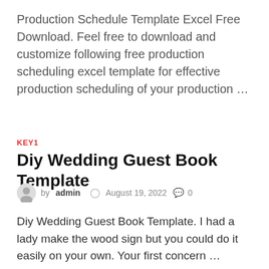Production Schedule Template Excel Free Download. Feel free to download and customize following free production scheduling excel template for effective production scheduling of your production …
KEY1
Diy Wedding Guest Book Template
by admin  August 19, 2022  0
Diy Wedding Guest Book Template. I had a lady make the wood sign but you could do it easily on your own. Your first concern …